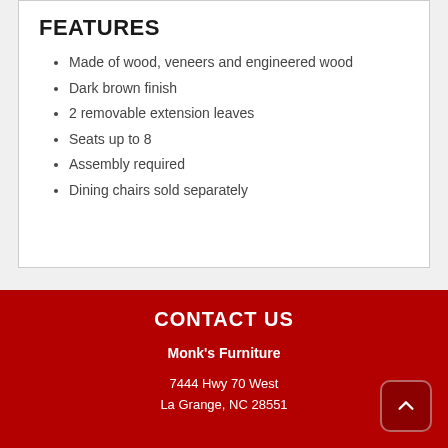FEATURES
Made of wood, veneers and engineered wood
Dark brown finish
2 removable extension leaves
Seats up to 8
Assembly required
Dining chairs sold separately
CONTACT US
Monk's Furniture
7444 Hwy 70 West
La Grange, NC 28551